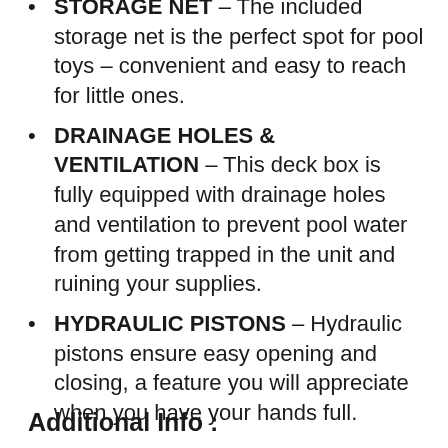STORAGE NET – The included storage net is the perfect spot for pool toys – convenient and easy to reach for little ones.
DRAINAGE HOLES & VENTILATION – This deck box is fully equipped with drainage holes and ventilation to prevent pool water from getting trapped in the unit and ruining your supplies.
HYDRAULIC PISTONS – Hydraulic pistons ensure easy opening and closing, a feature you will appreciate when you have your hands full.
Additional Info :